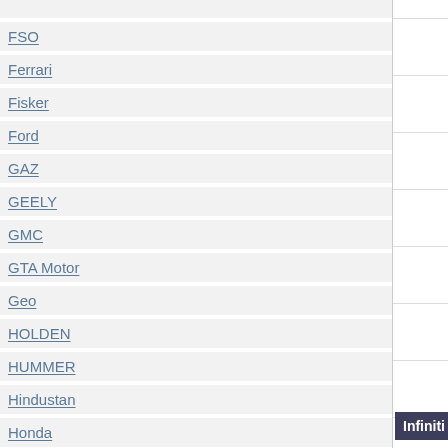FSO
Ferrari
Fisker
Ford
GAZ
GEELY
GMC
GTA Motor
Geo
HOLDEN
HUMMER
Hindustan
Honda
Hyundai
Infiniti
Innocenti
International
Isdera
Iso